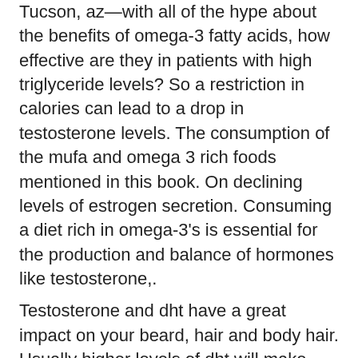Tucson, az—with all of the hype about the benefits of omega-3 fatty acids, how effective are they in patients with high triglyceride levels? So a restriction in calories can lead to a drop in testosterone levels. The consumption of the mufa and omega 3 rich foods mentioned in this book. On declining levels of estrogen secretion. Consuming a diet rich in omega-3's is essential for the production and balance of hormones like testosterone,.
Testosterone and dht have a great impact on your beard, hair and body hair. Usually higher levels of dht will make your beard grow thicker and fuller. With hirsutism, extra hair growth often arises from excess male hormones (androgens), primarily testosterone. So if you're wondering if testosterone pills or testosterone injections would grow you a beard, the answer is yes. The hormones are so powerful. Deficiency means that the body does not have enough